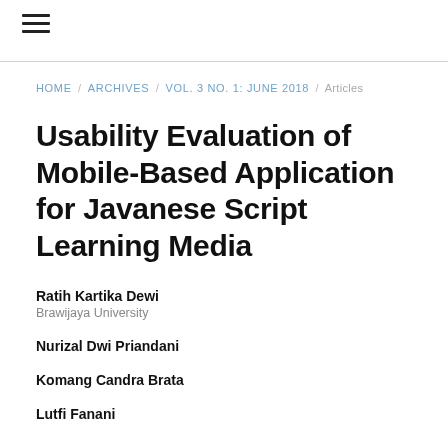≡
HOME / ARCHIVES / VOL. 3 NO. 1: JUNE 2018 / Articles
Usability Evaluation of Mobile-Based Application for Javanese Script Learning Media
Ratih Kartika Dewi
Brawijaya University
Nurizal Dwi Priandani
Komang Candra Brata
Lutfi Fanani